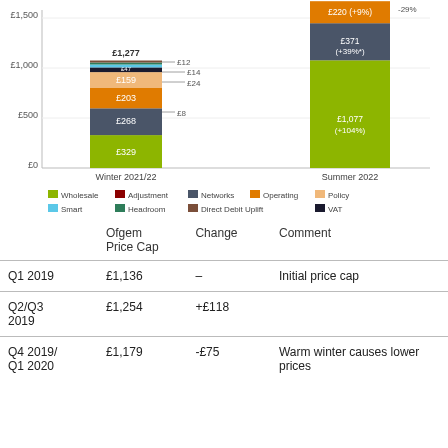[Figure (stacked-bar-chart): Ofgem Price Cap components]
|  | Ofgem Price Cap | Change | Comment |
| --- | --- | --- | --- |
| Q1 2019 | £1,136 | – | Initial price cap |
| Q2/Q3 2019 | £1,254 | +£118 |  |
| Q4 2019/ Q1 2020 | £1,179 | -£75 | Warm winter causes lower prices |